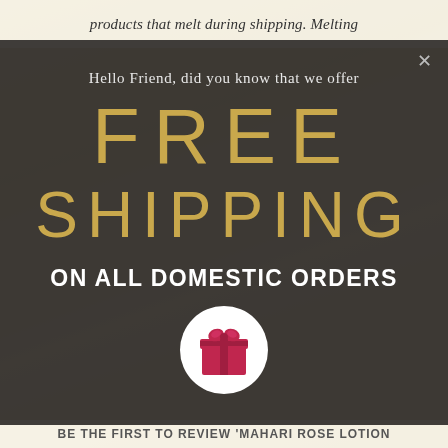products that melt during shipping. Melting
Hello Friend, did you know that we offer
FREE SHIPPING
ON ALL DOMESTIC ORDERS
[Figure (illustration): White circle with a pink/red gift box icon in the center]
BE THE FIRST TO REVIEW 'MAHARI ROSE LOTION